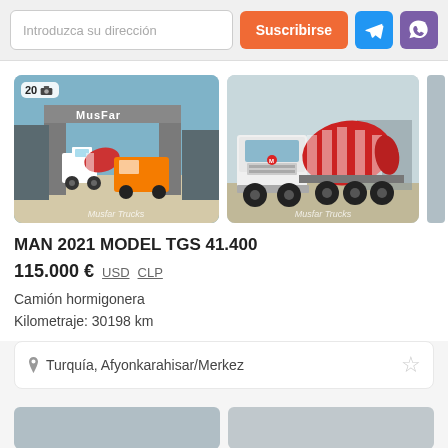Introduzca su dirección | Suscribirse
[Figure (photo): Left photo: MAN cement mixer trucks parked under a MusFar arch gateway. Photo badge shows '20' with camera icon. Watermark: Musfar Trucks]
[Figure (photo): Right photo: White MAN TGS cement mixer truck facing camera in a yard with MusFar signage in background. Watermark: Musfar Trucks]
MAN 2021 MODEL TGS 41.400
115.000 € USD CLP
Camión hormigonera
Kilometraje: 30198 km
Turquía, Afyonkarahisar/Merkez